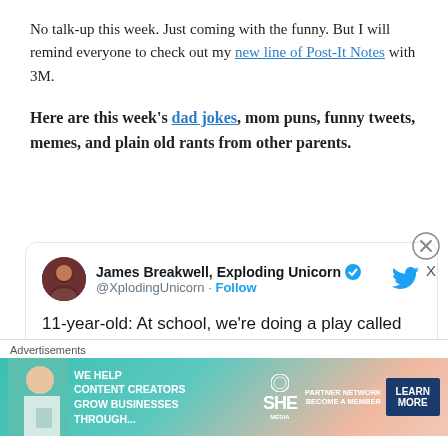No talk-up this week. Just coming with the funny. But I will remind everyone to check out my new line of Post-It Notes with 3M.
Here are this week's dad jokes, mom puns, funny tweets, memes, and plain old rants from other parents.
[Figure (screenshot): Tweet card from James Breakwell, Exploding Unicorn (@XplodingUnicorn) with verified badge and Follow button. Tweet text: '11-year-old: At school, we're doing a play called Guys and Dolls. It's set a really long time ago.']
Advertisements
[Figure (infographic): SHE Media advertisement banner with text 'WE HELP CONTENT CREATORS GROW BUSINESSES THROUGH...' and 'PARTNER NETWORK BECOME A MEMBER' with a LEARN MORE button]